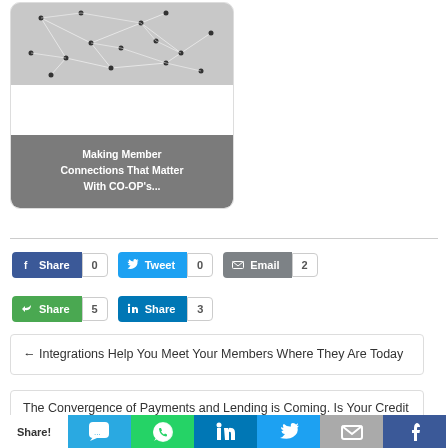[Figure (photo): Card with network/people connection image overlay and caption 'Making Member Connections That Matter With CO-OP's...']
Making Member Connections That Matter With CO-OP's...
Share 0  Tweet 0  Email 2  Share 5  Share 3
← Integrations Help You Meet Your Members Where They Are Today
The Convergence of Payments and Lending is Coming. Is Your Credit Union